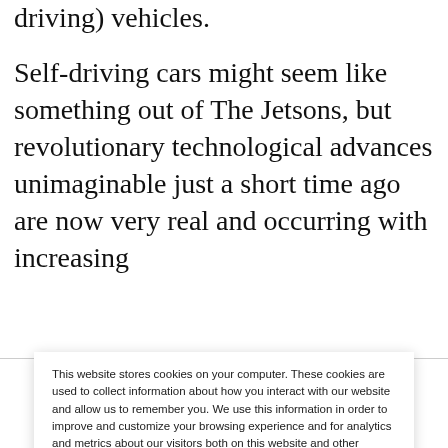driving) vehicles.

Self-driving cars might seem like something out of The Jetsons, but revolutionary technological advances unimaginable just a short time ago are now very real and occurring with increasing
This website stores cookies on your computer. These cookies are used to collect information about how you interact with our website and allow us to remember you. We use this information in order to improve and customize your browsing experience and for analytics and metrics about our visitors both on this website and other media. Find out more about the cookies we use, our Terms of Use, and our Privacy Policy.

If you decline, your information won't be tracked when you visit this website. A single cookie will be used in your browser to remember your preference not to be tracked.